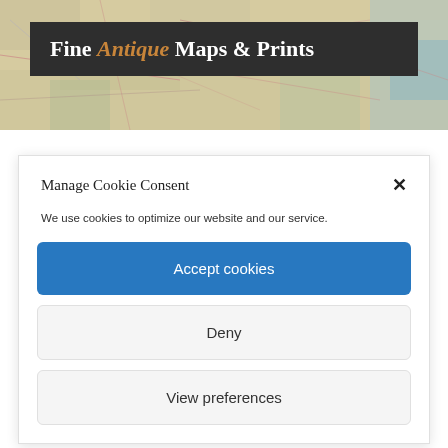[Figure (illustration): Antique map background image with road networks and geographic features in muted yellow, green, and blue tones, used as website header background]
Fine Antique Maps & Prints
Manage Cookie Consent
We use cookies to optimize our website and our service.
Accept cookies
Deny
View preferences